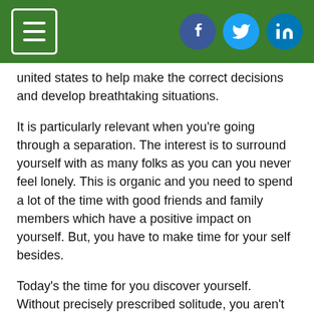Menu | Facebook | Twitter | LinkedIn
united states to help make the correct decisions and develop breathtaking situations.
It is particularly relevant when you’re going through a separation. The interest is to surround yourself with as many folks as you can you never feel lonely. This is organic and you need to spend a lot of the time with good friends and family members which have a positive impact on yourself. But, you have to make time for your self besides.
Today’s the time for you discover yourself. Without precisely prescribed solitude, you aren’t offering yourself the necessary room to remember who you were when you met this lady. ItâŁŁs likely that that your individuality changed and adapted on connection. Folks understood you a lot more as several than as a person. When you